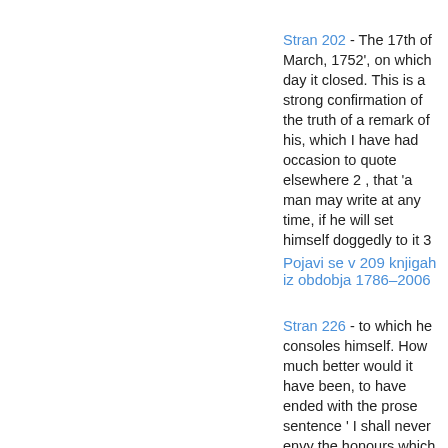Stran 202 - The 17th of March, 1752', on which day it closed. This is a strong confirmation of the truth of a remark of his, which I have had occasion to quote elsewhere 2 , that 'a man may write at any time, if he will set himself doggedly to it 3
Pojavi se v 209 knjigah iz obdobja 1786–2006
Stran 226 - to which he consoles himself. How much better would it have been, to have ended with the prose sentence ' I shall never envy the honours which wit and learning obtain in